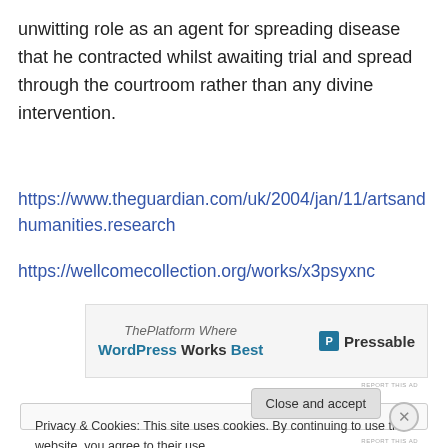unwitting role as an agent for spreading disease that he contracted whilst awaiting trial and spread through the courtroom rather than any divine intervention.
https://www.theguardian.com/uk/2004/jan/11/artsandhumanities.research
https://wellcomecollection.org/works/x3psyxnc
[Figure (screenshot): Advertisement banner: ThePlatform Where WordPress Works Best | Pressable logo]
REPORT THIS AD
Privacy & Cookies: This site uses cookies. By continuing to use this website, you agree to their use.
To find out more, including how to control cookies, see here: Cookie Policy
Close and accept
REPORT THIS AD